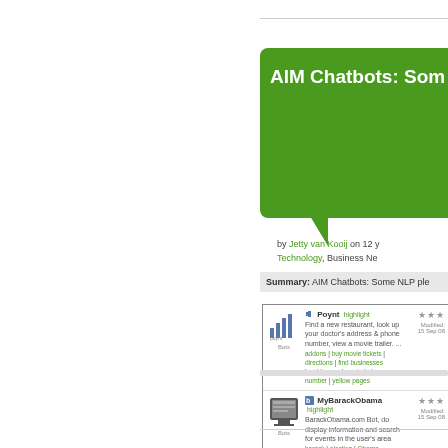AIM Chatbots: Som
by Jetty van Kooij on 12 y Technology, Business Ne
Summary: AIM Chatbots: Some NLP ple
[Figure (screenshot): AIM Chatbots directory listing showing three bots: Poynt (highlighted), MyBarackObama (highlighted), and SportsFanStan (highlighted), each with star ratings, descriptions, and modification dates.]